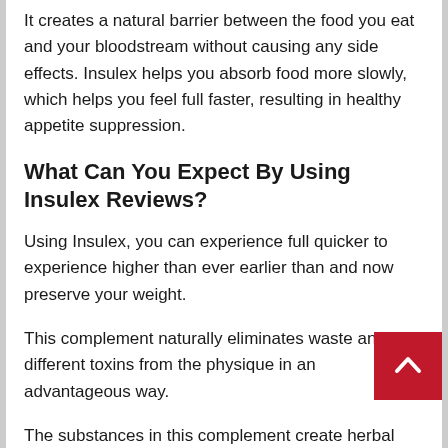It creates a natural barrier between the food you eat and your bloodstream without causing any side effects. Insulex helps you absorb food more slowly, which helps you feel full faster, resulting in healthy appetite suppression.
What Can You Expect By Using Insulex Reviews?
Using Insulex, you can experience full quicker to experience higher than ever earlier than and now preserve your weight.
This complement naturally eliminates waste and different toxins from the physique in an advantageous way.
The substances in this complement create herbal bulk-